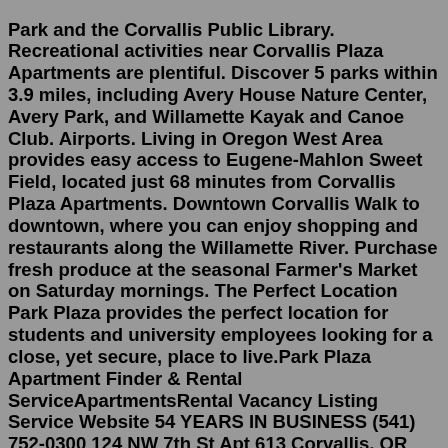Park and the Corvallis Public Library. Recreational activities near Corvallis Plaza Apartments are plentiful. Discover 5 parks within 3.9 miles, including Avery House Nature Center, Avery Park, and Willamette Kayak and Canoe Club. Airports. Living in Oregon West Area provides easy access to Eugene-Mahlon Sweet Field, located just 68 minutes from Corvallis Plaza Apartments. Downtown Corvallis Walk to downtown, where you can enjoy shopping and restaurants along the Willamette River. Purchase fresh produce at the seasonal Farmer's Market on Saturday mornings. The Perfect Location Park Plaza provides the perfect location for students and university employees looking for a close, yet secure, place to live.Park Plaza Apartment Finder & Rental ServiceApartmentsRental Vacancy Listing Service Website 54 YEARS IN BUSINESS (541) 752-0300 124 NW 7th St Apt 613 Corvallis, OR 97330 Businesses in Related Categories to Apartment Finder & Rental Service 2. Chestnut Village Apartment Finder & Rental ServiceReal Estate Management 18 YEARS